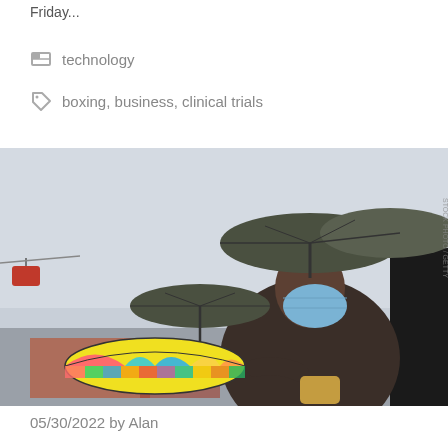Friday...
technology
boxing, business, clinical trials
[Figure (photo): A person wearing a blue face mask and a dark umbrella on their head, holding a colorful striped umbrella and other items, in an outdoor market scene. A cable car gondola is visible in the background on the left.]
05/30/2022 by Alan